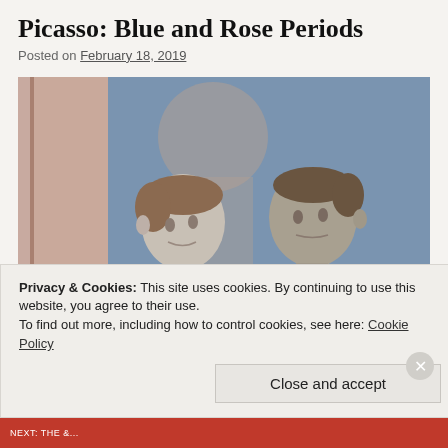Picasso: Blue and Rose Periods
Posted on February 18, 2019
[Figure (photo): Picasso painting showing two figures, likely acrobats or circus performers, depicted in muted blue, pink, and grey tones. The figures wear white ruffled collars. The background is a mix of blue and pinkish-beige.]
Privacy & Cookies: This site uses cookies. By continuing to use this website, you agree to their use.
To find out more, including how to control cookies, see here: Cookie Policy
Close and accept